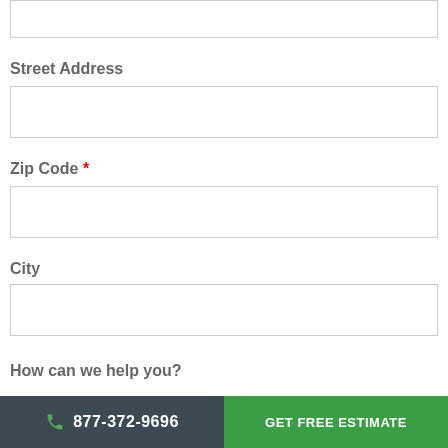(input box at top — partial form field)
Street Address
Zip Code *
City
How can we help you?
877-372-9696   GET FREE ESTIMATE